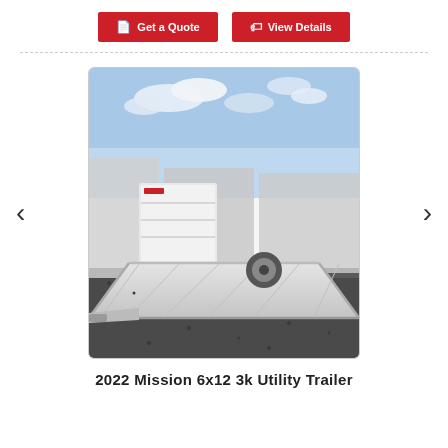Get a Quote
View Details
[Figure (photo): Photo of a 2022 Mission 6x12 3k Utility Trailer, aluminum flatbed single-axle trailer parked on gravel lot with other trailers in background and blue sky above.]
2022 Mission 6x12 3k Utility Trailer